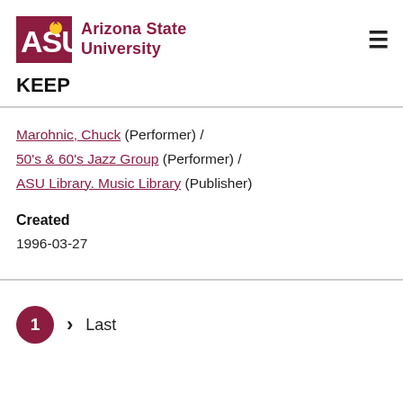Arizona State University — KEEP
Marohnic, Chuck (Performer) / 50's & 60's Jazz Group (Performer) / ASU Library. Music Library (Publisher)
Created
1996-03-27
1 > Last